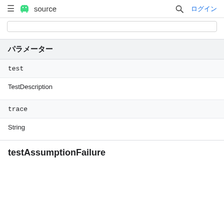≡ 🤖 source  🔍 ログイン
| パラメーター |
| --- |
| test | TestDescription |
| trace | String |
testAssumptionFailure